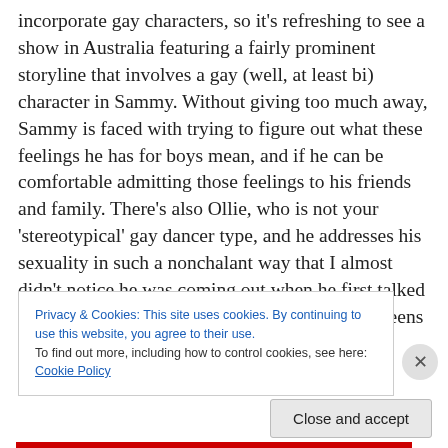incorporate gay characters, so it's refreshing to see a show in Australia featuring a fairly prominent storyline that involves a gay (well, at least bi) character in Sammy. Without giving too much away, Sammy is faced with trying to figure out what these feelings he has for boys mean, and if he can be comfortable admitting those feelings to his friends and family. There's also Ollie, who is not your 'stereotypical' gay dancer type, and he addresses his sexuality in such a nonchalant way that I almost  didn't notice he was coming out when he first talked about it. These two provide public figures that teens and younger
Privacy & Cookies: This site uses cookies. By continuing to use this website, you agree to their use.
To find out more, including how to control cookies, see here: Cookie Policy
Close and accept